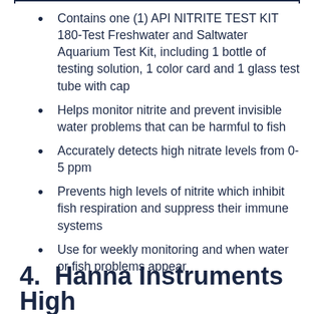Contains one (1) API NITRITE TEST KIT 180-Test Freshwater and Saltwater Aquarium Test Kit, including 1 bottle of testing solution, 1 color card and 1 glass test tube with cap
Helps monitor nitrite and prevent invisible water problems that can be harmful to fish
Accurately detects high nitrate levels from 0-5 ppm
Prevents high levels of nitrite which inhibit fish respiration and suppress their immune systems
Use for weekly monitoring and when water or fish problems appear
4. Hanna Instruments High